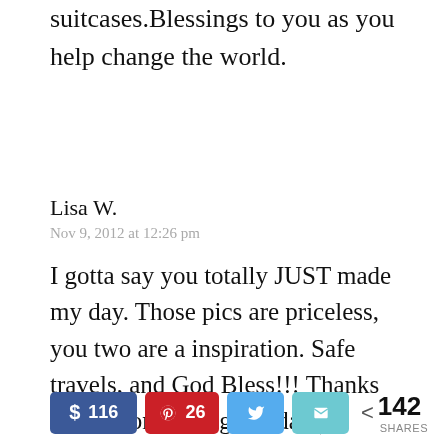suitcases.Blessings to you as you help change the world.
Lisa W.
Nov 9, 2012 at 12:26 pm
I gotta say you totally JUST made my day. Those pics are priceless, you two are a inspiration. Safe travels, and God Bless!!! Thanks aagain for making my day:)
116 Facebook shares, 26 Pinterest shares, Twitter share, Email share, 142 SHARES total